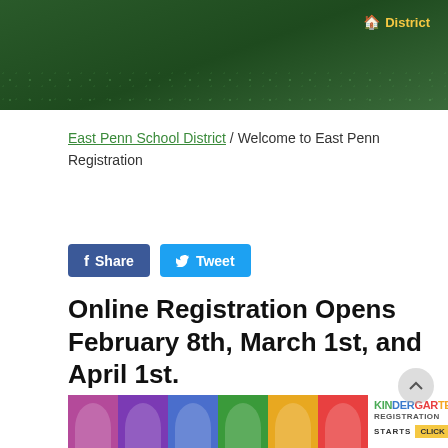District
East Penn School District / Welcome to East Penn Registration
Share   Tweet
Online Registration Opens February 8th, March 1st, and April 1st.
[Figure (photo): Six children with colorful tinted photo backgrounds (purple, dark purple, blue, green, yellow, red). Beside them is a 'Kindergarten Registration' graphic with 'STARTS' and 'CLICK' buttons.]